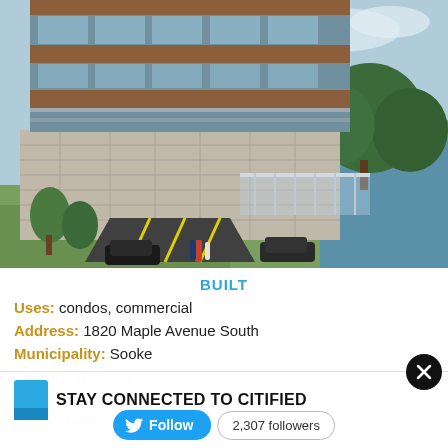[Figure (photo): Architectural rendering of a modern multi-story residential/commercial building with glass and wood facade, stone base, underground parking entrance, landscaping, and waterfront view with trees and blue sky.]
BUILT
Uses: condos, commercial
Address: 1820 Maple Avenue South
Municipality: Sooke
Region: West Shore
Storeys: 4
Sales status: now selling
STAY CONNECTED TO CITIFIED
Follow   2,307 followers